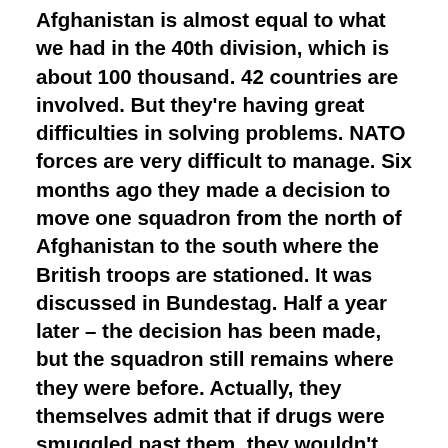Afghanistan is almost equal to what we had in the 40th division, which is about 100 thousand. 42 countries are involved. But they're having great difficulties in solving problems. NATO forces are very difficult to manage. Six months ago they made a decision to move one squadron from the north of Afghanistan to the south where the British troops are stationed. It was discussed in Bundestag. Half a year later – the decision has been made, but the squadron still remains where they were before. Actually, they themselves admit that if drugs were smuggled past them, they wouldn't interfere. Why? That's another tough question. Now, what if Russia was to act selfishly and play in geopolitics – just like our opponents are used to doing? They got us involved in the war in Afghanistan and immediately began to provide help for those rebels, the Mujahideen. We